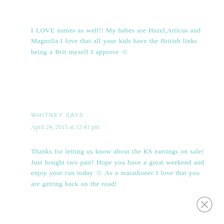I LOVE names as well!! My babes are Hazel,Atticus and Magnolia.I love that all your kids have the British links being a Brit myself I approve ☺
WHITNEY SAYS
April 24, 2015 at 12:41 pm
Thanks for letting us know about the KS earrings on sale! Just bought two pair! Hope you have a great weekend and enjoy your run today ☺ As a marathoner I love that you are getting back on the road!